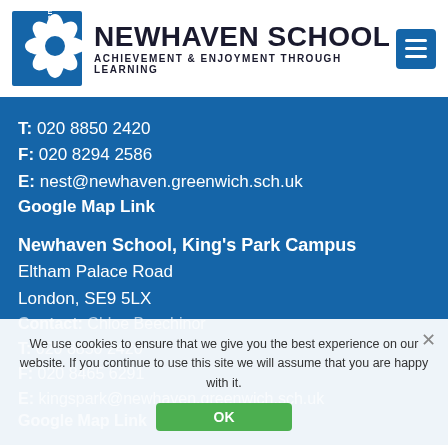[Figure (logo): Newhaven School logo: blue snowflake/star shape with 'newhaven' text on left side, school name and tagline to the right]
NEWHAVEN SCHOOL
ACHIEVEMENT & ENJOYMENT THROUGH LEARNING
T: 020 8850 2420
F: 020 8294 2586
E: nest@newhaven.greenwich.sch.uk
Google Map Link
Newhaven School, King's Park Campus
Eltham Palace Road
London, SE9 5LX
Contact: Chloe Beechinor
T: 020 8850 2420
F: 020 8465 6291
E: kingspark@newhaven.greenwich.sch.uk
Google Map Link
We use cookies to ensure that we give you the best experience on our website. If you continue to use this site we will assume that you are happy with it.
OK